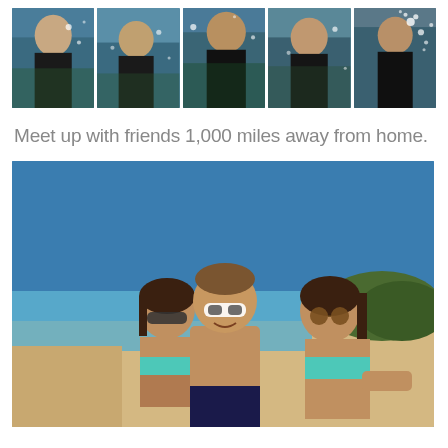[Figure (photo): Strip of five underwater photos showing a person in a black wetsuit, with bubbles and coral visible]
Meet up with friends 1,000 miles away from home.
[Figure (photo): Three smiling friends posing together on a sunny beach with clear blue water and a hillside in the background; two women in teal bikinis and a shirtless man, all wearing sunglasses]